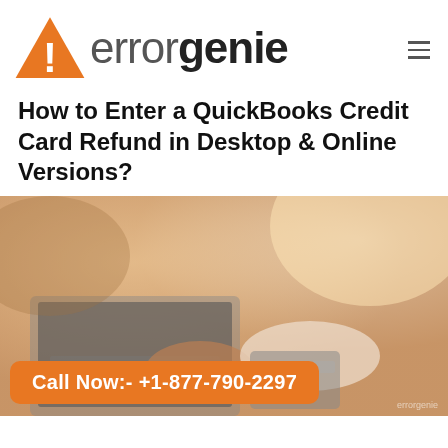errorgenie
How to Enter a QuickBooks Credit Card Refund in Desktop & Online Versions?
[Figure (photo): Person typing on a laptop while holding a credit card, warm-toned blurred background]
Call Now:- +1-877-790-2297